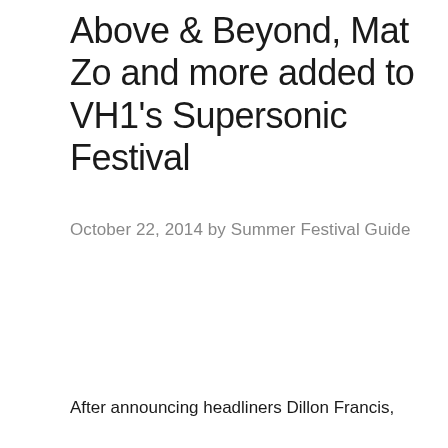Above & Beyond, Mat Zo and more added to VH1's Supersonic Festival
October 22, 2014 by Summer Festival Guide
After announcing headliners Dillon Francis,